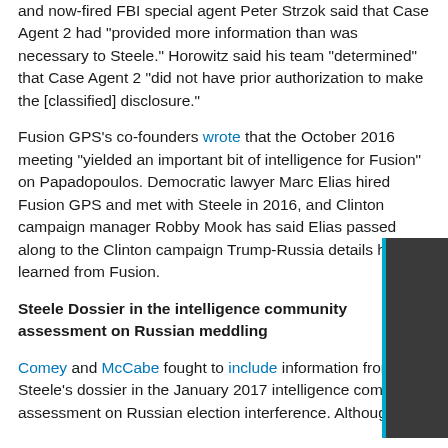and now-fired FBI special agent Peter Strzok said that Case Agent 2 had "provided more information than was necessary to Steele." Horowitz said his team "determined" that Case Agent 2 "did not have prior authorization to make the [classified] disclosure."
Fusion GPS's co-founders wrote that the October 2016 meeting "yielded an important bit of intelligence for Fusion" on Papadopoulos. Democratic lawyer Marc Elias hired Fusion GPS and met with Steele in 2016, and Clinton campaign manager Robby Mook has said Elias passed along to the Clinton campaign Trump-Russia details he learned from Fusion.
Steele Dossier in the intelligence community assessment on Russian meddling
Comey and McCabe fought to include information from Steele's dossier in the January 2017 intelligence community assessment on Russian election interference. Although the